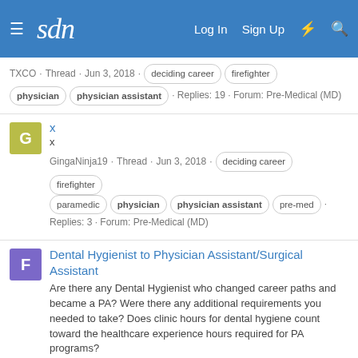sdn — Log In  Sign Up
TXCO · Thread · Jun 3, 2018 · deciding career  firefighter  physician  physician assistant · Replies: 19 · Forum: Pre-Medical (MD)
x
x
GingaNinja19 · Thread · Jun 3, 2018 · deciding career  firefighter  paramedic  physician  physician assistant  pre-med · Replies: 3 · Forum: Pre-Medical (MD)
Dental Hygienist to Physician Assistant/Surgical Assistant
Are there any Dental Hygienist who changed career paths and became a PA? Were there any additional requirements you needed to take? Does clinic hours for dental hygiene count toward the healthcare experience hours required for PA programs?
ftdoc17 · Thread · May 9, 2018 · dental hygiene  physician assistant · Replies: 4 · Forum: Clinicians [ RN / NP / PA ]